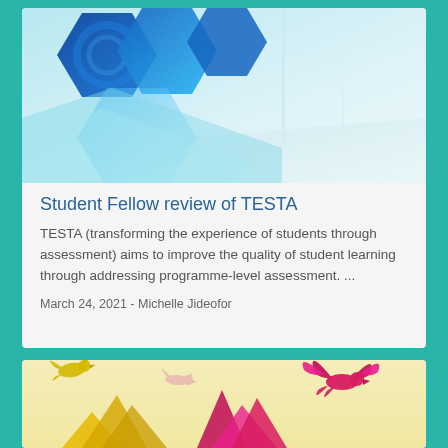[Figure (illustration): Abstract header image with blue and teal hexagon shapes on left, light blue-white modern interior background on right]
Student Fellow review of TESTA
TESTA (transforming the experience of students through assessment) aims to improve the quality of student learning through addressing programme-level assessment. ...
March 24, 2021  - Michelle Jideofor
[Figure (illustration): Colorful bird silhouettes (yellow, pink/magenta) flying above colorful mountain/castle silhouettes on a light yellow background]